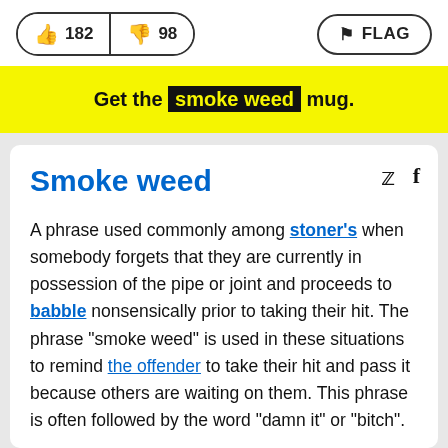182  98  FLAG
Get the smoke weed mug.
Smoke weed
A phrase used commonly among stoner's when somebody forgets that they are currently in possession of the pipe or joint and proceeds to babble nonsensically prior to taking their hit. The phrase "smoke weed" is used in these situations to remind the offender to take their hit and pass it because others are waiting on them. This phrase is often followed by the word "damn it" or "bitch".